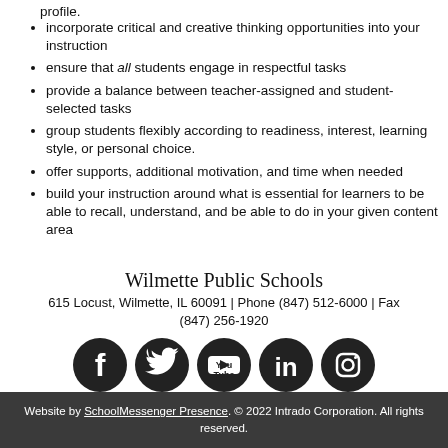incorporate critical and creative thinking opportunities into your instruction
ensure that all students engage in respectful tasks
provide a balance between teacher-assigned and student-selected tasks
group students flexibly according to readiness, interest, learning style, or personal choice.
offer supports, additional motivation, and time when needed
build your instruction around what is essential for learners to be able to recall, understand, and be able to do in your given content area
Wilmette Public Schools
615 Locust, Wilmette, IL 60091 | Phone (847) 512-6000 | Fax (847) 256-1920
[Figure (logo): Social media icons: Facebook, Twitter, YouTube, LinkedIn, Instagram]
Website by SchoolMessenger Presence. © 2022 Intrado Corporation. All rights reserved.